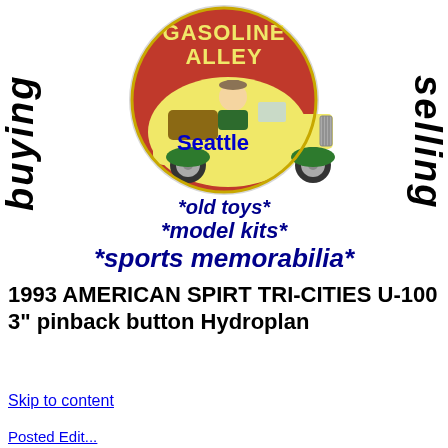[Figure (photo): Gasoline Alley collectible enamel pin badge showing a yellow vintage car with a person driving, red background circle, with 'GASOLINE ALLEY' text and 'Seattle' text in blue overlay. Circular pin badge image.]
buying
selling
*old toys*
*model kits*
*sports memorabilia*
1993 AMERICAN SPIRT TRI-CITIES U-100 3" pinback button Hydroplan
Skip to content
Posted Edit...